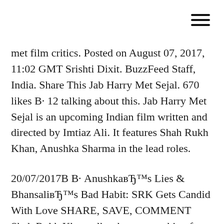met film critics. Posted on August 07, 2017, 11:02 GMT Srishti Dixit. BuzzFeed Staff, India. Share This Jab Harry Met Sejal. 670 likes В· 12 talking about this. Jab Harry Met Sejal is an upcoming Indian film written and directed by Imtiaz Ali. It features Shah Rukh Khan, Anushka Sharma in the lead roles.
20/07/2017В В· AnushkaвЂ™s Lies & BhansaliвЂ™s Bad Habit: SRK Gets Candid With Love SHARE, SAVE, COMMENT Shah Rukh Khan talks about everything from parenting and 25 years in Bollywood to Jab Harry Met Sejal вЂ¦ 20/07/2017В В· AnushkaвЂ™s Lies &